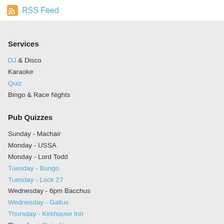RSS Feed
Services
DJ & Disco
Karaoke
Quiz
Bingo & Race Nights
Pub Quizzes
Sunday - Machair
Monday - USSA
Monday - Lord Todd
Tuesday - Bungo
Tuesday - Lock 27
Wednesday - 6pm Bacchus
Wednesday - Gallus
Thursday - Kirkhouse Inn
Thursday - Sixty Ate
Thursday - Bar 1821